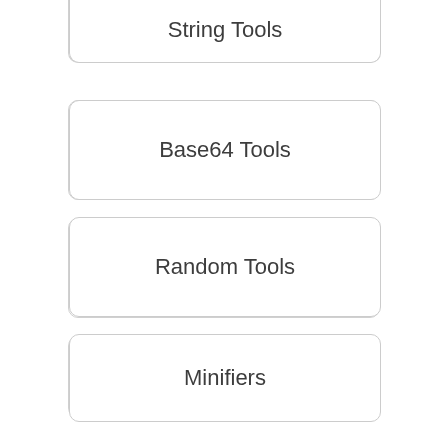String Tools
Base64 Tools
Random Tools
Minifiers
Validators
Cryptography